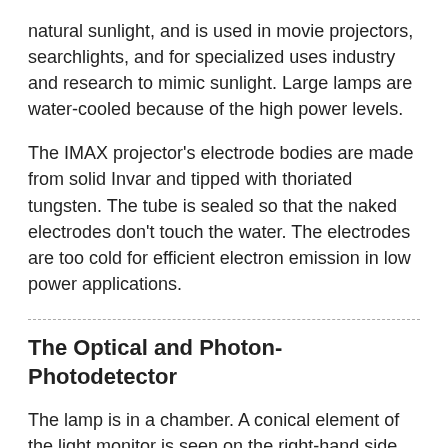natural sunlight, and is used in movie projectors, searchlights, and for specialized uses industry and research to mimic sunlight. Large lamps are water-cooled because of the high power levels.
The IMAX projector's electrode bodies are made from solid Invar and tipped with thoriated tungsten. The tube is sealed so that the naked electrodes don't touch the water. The electrodes are too cold for efficient electron emission in low power applications.
The Optical and Photon-Photodetector
The lamp is in a chamber. A conical element of the light monitor is seen on the right-hand side. The light passes through a filter before it reaches the photodetector.